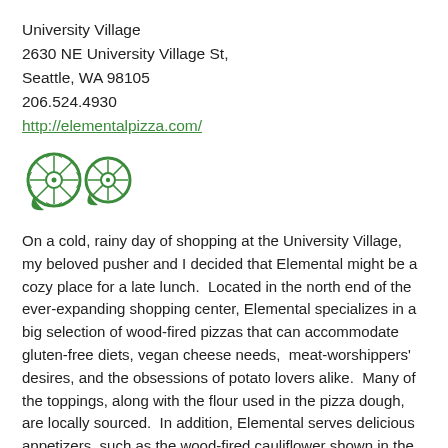University Village
2630 NE University Village St,
Seattle, WA 98105
206.524.4930
http://elementalpizza.com/
[Figure (logo): Two green circular pizza wheel logos side by side]
On a cold, rainy day of shopping at the University Village, my beloved pusher and I decided that Elemental might be a cozy place for a late lunch.  Located in the north end of the ever-expanding shopping center, Elemental specializes in a big selection of wood-fired pizzas that can accommodate gluten-free diets, vegan cheese needs,  meat-worshippers' desires, and the obsessions of potato lovers alike.  Many of the toppings, along with the flour used in the pizza dough, are locally sourced.  In addition, Elemental serves delicious appetizers, such as the wood-fired cauliflower shown in the picture above,